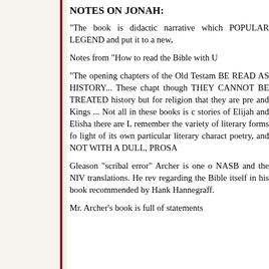NOTES ON JONAH:
"The book is didactic narrative which POPULAR LEGEND and put it to a new,
Notes from "How to read the Bible with U
"The opening chapters of the Old Testament BE READ AS HISTORY... These chapters though THEY CANNOT BE TREATED history but for religion that they are pre and Kings ... Not all in these books is c stories of Elijah and Elisha there are L remember the variety of literary forms fo light of its own particular literary charact poetry, and NOT WITH A DULL, PROSA
Gleason "scribal error" Archer is one o NASB and the NIV translations. He re regarding the Bible itself in his bool recommended by Hank Hannegraff.
Mr. Archer's book is full of statements